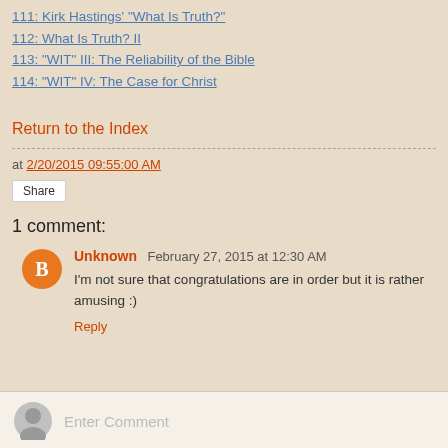111: Kirk Hastings' "What Is Truth?"
112: What Is Truth? II
113: "WIT" III: The Reliability of the Bible
114: "WIT" IV: The Case for Christ
Return to the Index
at 2/20/2015 09:55:00 AM
Share
1 comment:
Unknown  February 27, 2015 at 12:30 AM
I'm not sure that congratulations are in order but it is rather amusing :)
Reply
Enter Comment